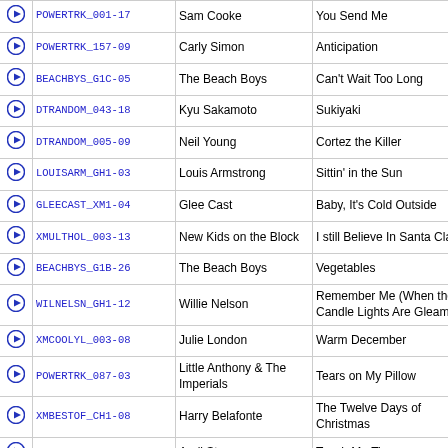|  | Code | Artist | Title |
| --- | --- | --- | --- |
| ▶ | POWERTRK_001-17 | Sam Cooke | You Send Me |
| ▶ | POWERTRK_157-09 | Carly Simon | Anticipation |
| ▶ | BEACHBYS_G1C-05 | The Beach Boys | Can't Wait Too Long |
| ▶ | DTRANDOM_043-18 | Kyu Sakamoto | Sukiyaki |
| ▶ | DTRANDOM_005-09 | Neil Young | Cortez the Killer |
| ▶ | LOUISARM_GH1-03 | Louis Armstrong | Sittin' in the Sun |
| ▶ | GLEECAST_XM1-04 | Glee Cast | Baby, It's Cold Outside |
| ▶ | XMULTHOL_003-13 | New Kids on the Block | I still Believe In Santa Claus |
| ▶ | BEACHBYS_G1B-26 | The Beach Boys | Vegetables |
| ▶ | WILNELSN_GH1-12 | Willie Nelson | Remember Me (When the Candle Lights Are Gleaming) |
| ▶ | XMCOOLYL_003-08 | Julie London | Warm December |
| ▶ | POWERTRK_087-03 | Little Anthony & The Imperials | Tears on My Pillow |
| ▶ | XMBESTOF_CH1-08 | Harry Belafonte | The Twelve Days of Christmas |
| ▶ | ULTLOUNG_001-16 | April Stevens | Teach Me Tiger |
| ▶ | HRYCONCK_CBM-10 | Harry Connick, Jr. | A Moment With Me |
| ▶ | DINRPRTY_003-11 | Carmen Lundy | One More River To Cross |
| ▶ | QUEEN_____GH1-06 | Queen | One Year of Love |
| ▶ | POWERTRK_084-19 | Dean Martin | Everybody Loves Somebody |
| ▶ | NATLCOLE_GH1-20 | Natalie Cole | Non Dimenticar |
| ▶ | MILESDVS_LV1-16 | Miles Davis | Why Do I Love You [Live] |
| ▶ | ALANJKSN_GH1-02 | Alan Jackson | Who Says You Can't Have It All |